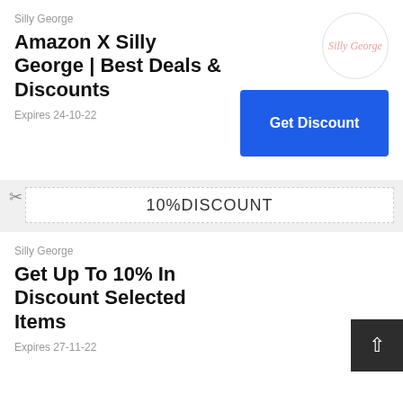Silly George
Amazon X Silly George | Best Deals & Discounts
[Figure (logo): Silly George circular logo with cursive pink text]
Get Discount
Expires 24-10-22
10%DISCOUNT
Silly George
Get Up To 10% In Discount Selected Items
[Figure (logo): Silly George circular logo with cursive pink text]
Get Discount
Expires 27-11-22